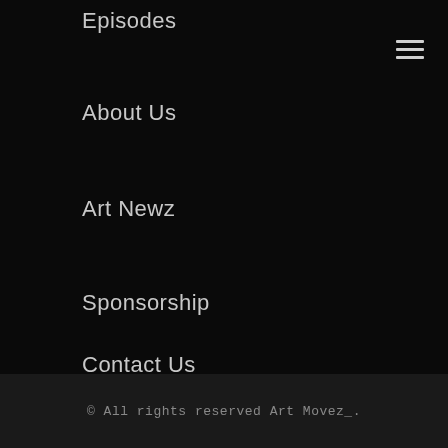Episodes
About Us
Art Newz
Sponsorship
Contact Us
[Figure (infographic): Hamburger menu icon with three horizontal white lines, positioned in upper right]
© All rights reserved Art Movez_.